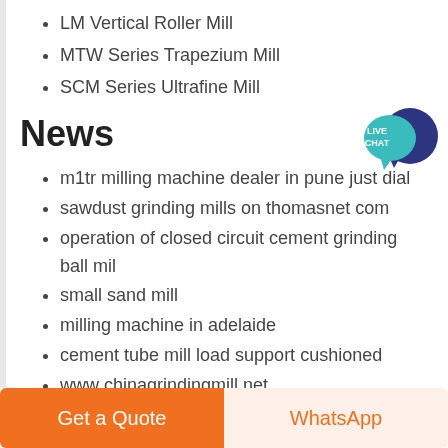LM Vertical Roller Mill
MTW Series Trapezium Mill
SCM Series Ultrafine Mill
News
m1tr milling machine dealer in pune just dial
sawdust grinding mills on thomasnet com
operation of closed circuit cement grinding ball mil
small sand mill
milling machine in adelaide
cement tube mill load support cushioned
www chinagrindingmill net
grinding machines selling fabric in the united
[Figure (illustration): Live Chat speech bubble icon in teal/dark blue colors with text LIVE CHAT]
Get a Quote
WhatsApp